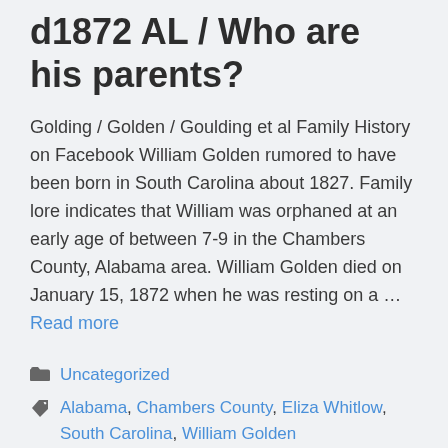d1872 AL / Who are his parents?
Golding / Golden / Goulding et al Family History on Facebook William Golden rumored to have been born in South Carolina about 1827. Family lore indicates that William was orphaned at an early age of between 7-9 in the Chambers County, Alabama area. William Golden died on January 15, 1872 when he was resting on a … Read more
Categories: Uncategorized
Tags: Alabama, Chambers County, Eliza Whitlow, South Carolina, William Golden